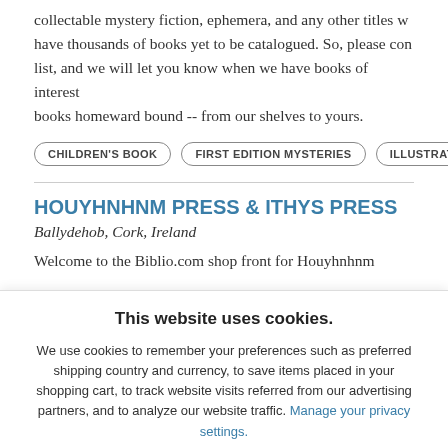collectable mystery fiction, ephemera, and any other titles w have thousands of books yet to be catalogued. So, please con list, and we will let you know when we have books of interest books homeward bound -- from our shelves to yours.
CHILDREN'S BOOK
FIRST EDITION MYSTERIES
ILLUSTRATED BOOKS
HOUYHNHNM PRESS & ITHYS PRESS
Ballydehob, Cork, Ireland
Welcome to the Biblio.com shop front for Houyhnhnm
This website uses cookies.
We use cookies to remember your preferences such as preferred shipping country and currency, to save items placed in your shopping cart, to track website visits referred from our advertising partners, and to analyze our website traffic. Manage your privacy settings.
AGREE AND CLOSE